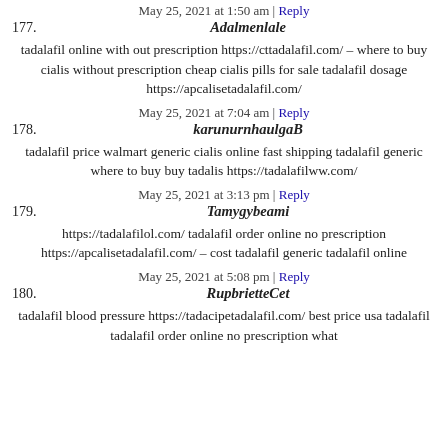May 25, 2021 at 1:50 am | Reply
177. Adalmenlale
tadalafil online with out prescription https://cttadalafil.com/ – where to buy cialis without prescription cheap cialis pills for sale tadalafil dosage https://apcalisetadalafil.com/
May 25, 2021 at 7:04 am | Reply
178. karunurnhaulgaB
tadalafil price walmart generic cialis online fast shipping tadalafil generic where to buy buy tadalis https://tadalafilww.com/
May 25, 2021 at 3:13 pm | Reply
179. Tamygybeami
https://tadalafilol.com/ tadalafil order online no prescription https://apcalisetadalafil.com/ – cost tadalafil generic tadalafil online
May 25, 2021 at 5:08 pm | Reply
180. RupbrietteCet
tadalafil blood pressure https://tadacipetadalafil.com/ best price usa tadalafil tadalafil order online no prescription what